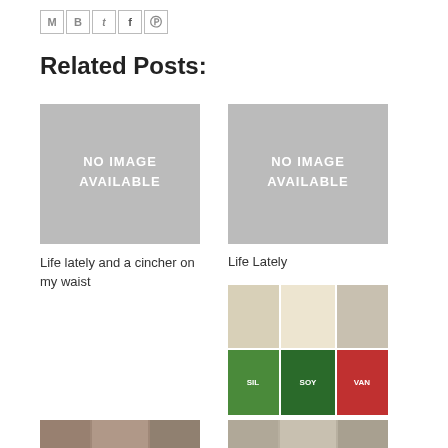[Figure (other): Social sharing icons: M (email), B (Blogger), T (Twitter), F (Facebook), P (Pinterest)]
Related Posts:
[Figure (other): No image available placeholder (grey box)]
Life lately and a cincher on my waist
[Figure (other): No image available placeholder (grey box)]
Life Lately
[Figure (photo): Collage of 6 small images showing t-shirts and branded items with SIL, SOY, NGO, VAN text]
Life Lately
[Figure (photo): Bottom row partial thumbnail images]